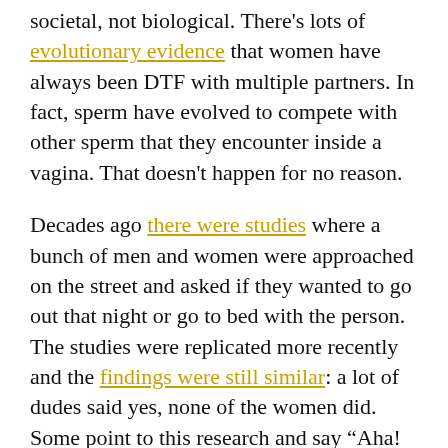societal, not biological. There's lots of evolutionary evidence that women have always been DTF with multiple partners. In fact, sperm have evolved to compete with other sperm that they encounter inside a vagina. That doesn't happen for no reason.
Decades ago there were studies where a bunch of men and women were approached on the street and asked if they wanted to go out that night or go to bed with the person. The studies were replicated more recently and the findings were still similar: a lot of dudes said yes, none of the women did. Some point to this research and say “Aha! Something something men’s innate sex drive!” But that’s a really shallow reading.
Setting aside the fact women are generally at